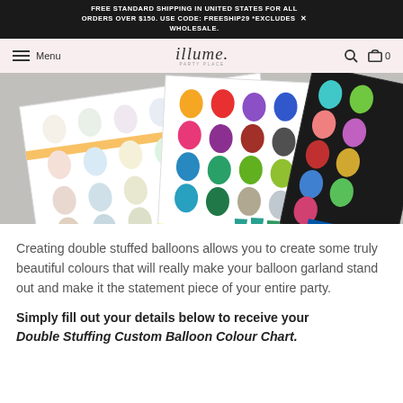FREE STANDARD SHIPPING IN UNITED STATES FOR ALL ORDERS OVER $150. USE CODE: FREESHIP29 *EXCLUDES WHOLESALE.
[Figure (screenshot): Website navigation bar with hamburger menu icon, 'Menu' text, 'illume' logo in center, search icon and cart icon with 0 on the right, on a pink/blush background]
[Figure (photo): Three Qualatex balloon colour chart sheets fanned out showing balloons in various pastel, standard, and metallic/chrome colours on white and black backgrounds]
Creating double stuffed balloons allows you to create some truly beautiful colours that will really make your balloon garland stand out and make it the statement piece of your entire party.
Simply fill out your details below to receive your Double Stuffing Custom Balloon Colour Chart.